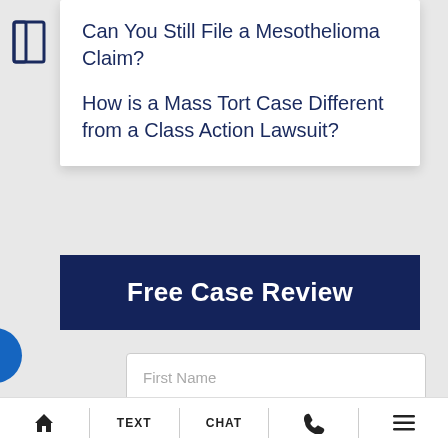Can You Still File a Mesothelioma Claim?
How is a Mass Tort Case Different from a Class Action Lawsuit?
Free Case Review
First Name
HOME | TEXT | CHAT | PHONE | MENU